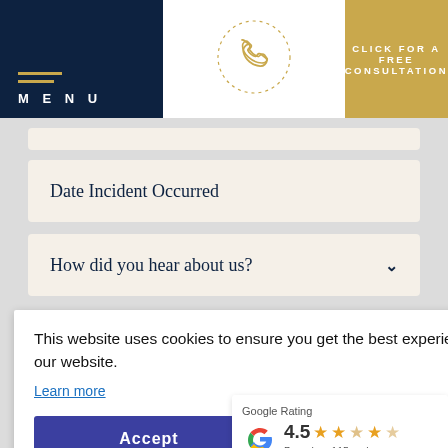MENU | CLICK FOR A FREE CONSULTATION
[Figure (other): Phone handset icon with dotted circle outline in gold/beige color]
Date Incident Occurred
How did you hear about us?
Details
This website uses cookies to ensure you get the best experience on our website.
Learn more
Accept
Google Rating
4.5
Based on 115 reviews